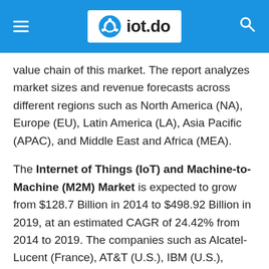iot.do
value chain of this market. The report analyzes market sizes and revenue forecasts across different regions such as North America (NA), Europe (EU), Latin America (LA), Asia Pacific (APAC), and Middle East and Africa (MEA).
The Internet of Things (IoT) and Machine-to-Machine (M2M) Market is expected to grow from $128.7 Billion in 2014 to $498.92 Billion in 2019, at an estimated CAGR of 24.42% from 2014 to 2019. The companies such as Alcatel-Lucent (France), AT&T (U.S.), IBM (U.S.), Google (U.S.), CISCO (U.S.), Qualcomm (U.S.), Intel (U.S.), NXP